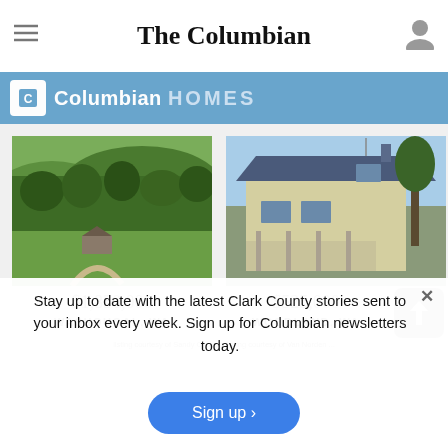The Columbian
[Figure (logo): Columbian HOMES banner with blue background]
[Figure (photo): Aerial photo of green forested property in Washougal, WA]
$1,850,000
WASHOUGAL, WA
[Figure (photo): Photo of two-story house exterior in Woodland, WA]
$525,000
WOODLAND, WA
Stay up to date with the latest Clark County stories sent to your inbox every week. Sign up for Columbian newsletters today.
Sign up >